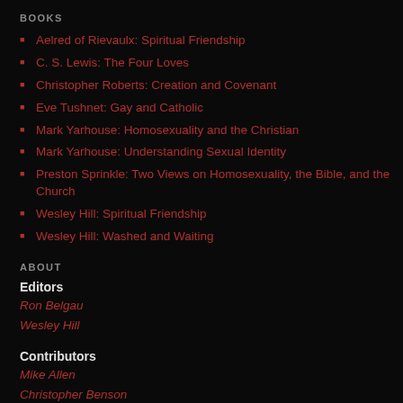BOOKS
Aelred of Rievaulx: Spiritual Friendship
C. S. Lewis: The Four Loves
Christopher Roberts: Creation and Covenant
Eve Tushnet: Gay and Catholic
Mark Yarhouse: Homosexuality and the Christian
Mark Yarhouse: Understanding Sexual Identity
Preston Sprinkle: Two Views on Homosexuality, the Bible, and the Church
Wesley Hill: Spiritual Friendship
Wesley Hill: Washed and Waiting
ABOUT
Editors
Ron Belgau
Wesley Hill
Contributors
Mike Allen
Christopher Benson
Jeremy Erickson
Matt Jones
Kyle Keating
Jordan Monge